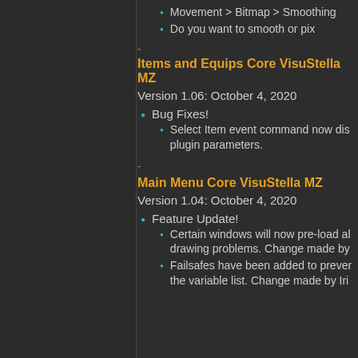Movement > Bitmap > Smoothing
Do you want to smooth or pix
Items and Equips Core VisuStella MZ
Version 1.06: October 4, 2020
Bug Fixes!
Select Item event command now dis plugin parameters.
Main Menu Core VisuStella MZ
Version 1.04: October 4, 2020
Feature Update!
Certain windows will now pre-load al drawing problems. Change made by
Failsafes have been added to prever the variable list. Change made by Iri